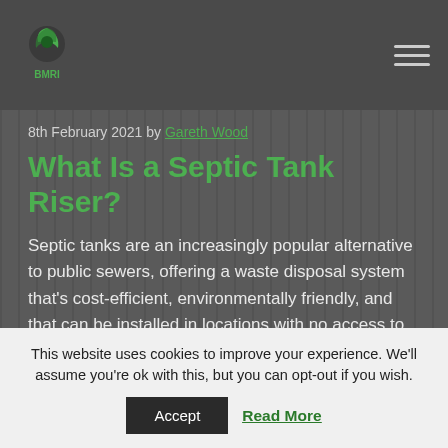BMRI logo and navigation
8th February 2021 by Gareth Wood
What Is a Septic Tank Riser?
Septic tanks are an increasingly popular alternative to public sewers, offering a waste disposal system that’s cost-efficient, environmentally friendly, and that can be installed in locations with no access to public facilities.
This website uses cookies to improve your experience. We’ll assume you're ok with this, but you can opt-out if you wish.